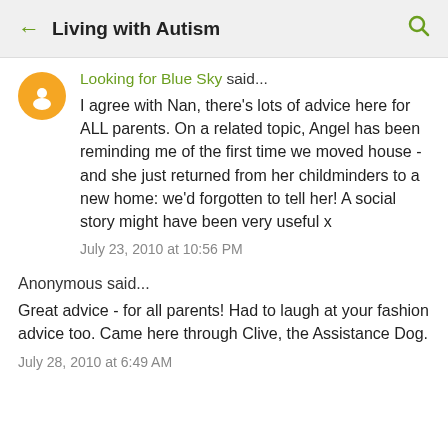← Living with Autism 🔍
Looking for Blue Sky said...
I agree with Nan, there's lots of advice here for ALL parents. On a related topic, Angel has been reminding me of the first time we moved house - and she just returned from her childminders to a new home: we'd forgotten to tell her! A social story might have been very useful x
July 23, 2010 at 10:56 PM
Anonymous said...
Great advice - for all parents! Had to laugh at your fashion advice too. Came here through Clive, the Assistance Dog.
July 28, 2010 at 6:49 AM